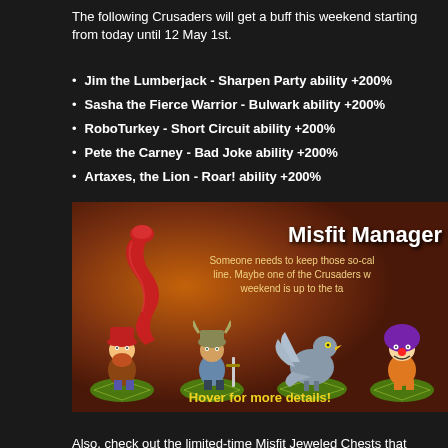The following Crusaders will get a buff this weekend starting from today until 12 May 1st.
Jim the Lumberjack - Sharpen Party ability +200%
Sasha the Fierce Warrior - Bulwark ability +200%
RoboTurkey - Short Circuit ability +200%
Pete the Carney - Bad Joke ability +200%
Artaxes, the Lion - Roar! ability +200%
[Figure (illustration): Game promotional image showing 'Misfit Manager' with cartoon characters including a lumberjack, viking warrior, robo-turkey, and clown on green platforms. Text says 'Someone needs to keep those so-cal line. Maybe one of the Crusaders w weekend is up to the ta' and 'Hover for more details!']
Also, check out the limited-time Misfit Jeweled Chests that contain equipment f